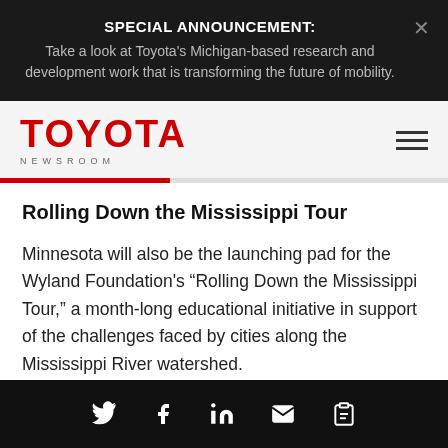SPECIAL ANNOUNCEMENT:
Take a look at Toyota's Michigan-based research and development work that is transforming the future of mobility.
[Figure (logo): Toyota Newsroom logo with red TOYOTA text and NEWSROOM subtitle]
Rolling Down the Mississippi Tour
Minnesota will also be the launching pad for the Wyland Foundation's “Rolling Down the Mississippi Tour,” a month-long educational initiative in support of the challenges faced by cities along the Mississippi River watershed.
Social share icons: Twitter, Facebook, LinkedIn, Email, Copy link